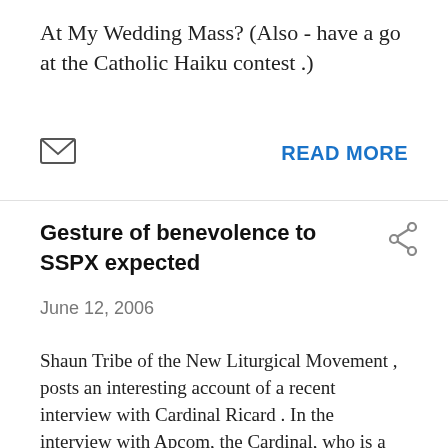At My Wedding Mass? (Also - have a go at the Catholic Haiku contest .)
READ MORE
Gesture of benevolence to SSPX expected
June 12, 2006
Shaun Tribe of the New Liturgical Movement , posts an interesting account of a recent interview with Cardinal Ricard . In the interview with Apcom, the Cardinal, who is a member of the Eccles ...